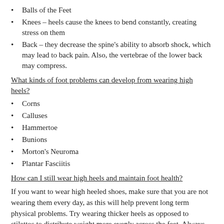Balls of the Feet
Knees – heels cause the knees to bend constantly, creating stress on them
Back – they decrease the spine's ability to absorb shock, which may lead to back pain. Also, the vertebrae of the lower back may compress.
What kinds of foot problems can develop from wearing high heels?
Corns
Calluses
Hammertoe
Bunions
Morton's Neuroma
Plantar Fasciitis
How can I still wear high heels and maintain foot health?
If you want to wear high heeled shoes, make sure that you are not wearing them every day, as this will help prevent long term physical problems. Try wearing thicker heels as opposed to stilettos to distribute weight more evenly across the feet. Always make sure you are wearing the proper shoes for the right occasion, such as sneakers for exercising. If you walk to work, try carrying your heels with you and changing into them once you arrive at work. Adding inserts to your heels can help cushion your feet and absorb shock. Full foot inserts or metatarsal pads are available.
If you have any questions, please feel free to contact one of our offices